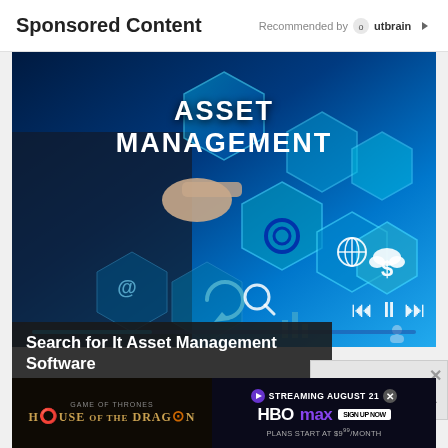Sponsored Content    Recommended by Outbrain
[Figure (photo): Person in suit touching a digital hexagonal ASSET MANAGEMENT interface with technology icons (gear, cloud, globe, dollar sign, refresh arrows, at symbol) on a blue-toned background]
Search for It Asset Management Software
Search Ads
No compatible source was found for this media.
[Figure (photo): Advertisement banner: House of the Dragon HBO Max streaming banner - left side shows House of the Dragon logo on dark background, right side shows Streaming August 21 with HBO Max logo and Sign Up Now button. Plans start at $9.99/month.]